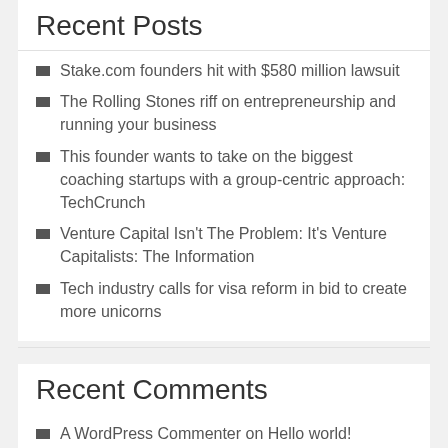Recent Posts
Stake.com founders hit with $580 million lawsuit
The Rolling Stones riff on entrepreneurship and running your business
This founder wants to take on the biggest coaching startups with a group-centric approach: TechCrunch
Venture Capital Isn’t The Problem: It’s Venture Capitalists: The Information
Tech industry calls for visa reform in bid to create more unicorns
Recent Comments
A WordPress Commenter on Hello world!